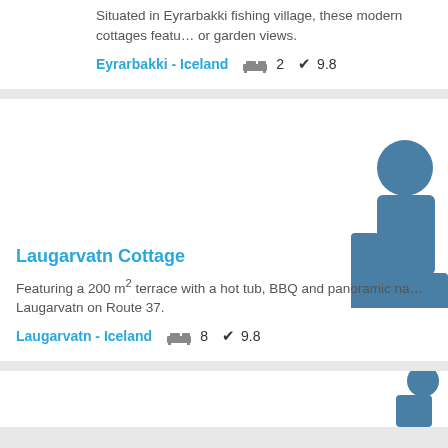Situated in Eyrarbakki fishing village, these modern cottages featu... or garden views.
Eyrarbakki - Iceland  2  9.8
[Figure (illustration): Accommodation/bed icon in steel blue color, partially visible on the right side of the second card]
Laugarvatn Cottage
Featuring a 200 m² terrace with a hot tub, BBQ and panoramic na... Laugarvatn on Route 37.
Laugarvatn - Iceland  8  9.8
[Figure (illustration): Accommodation/bed icon in steel blue color, partially visible at bottom right of page]